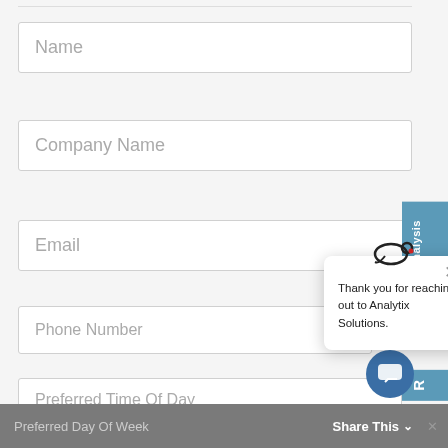[Figure (screenshot): Web form with fields: Name, Company Name, Email, Phone Number, Preferred Time Of Day, Preferred Day Of Week. A popup notification reads 'Thank you for reaching out to Analytix Solutions.' with a close button and chat widget visible. A 'Free Analysis' side tab and 'Share This' bottom bar are present.]